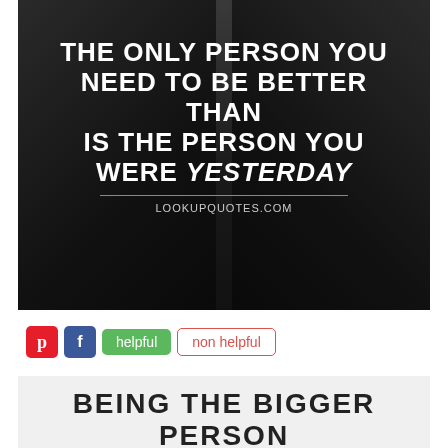[Figure (illustration): Dark background with suit/jacket imagery and motivational quote text: 'THE ONLY PERSON YOU NEED TO BE BETTER THAN IS THE PERSON YOU WERE YESTERDAY' with attribution LOOKUPQUOTES.COM]
helpful | non helpful (social sharing buttons: Pinterest, Facebook)
BEING THE BIGGER PERSON